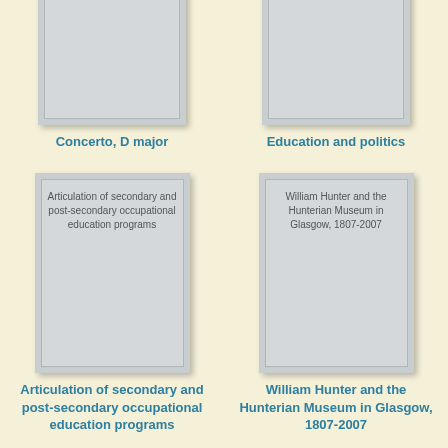[Figure (illustration): Book cover placeholder for Concerto, D major - gray rectangle with inner border]
Concerto, D major
[Figure (illustration): Book cover placeholder for Education and politics - gray rectangle with inner border]
Education and politics
[Figure (illustration): Book cover placeholder for Articulation of secondary and post-secondary occupational education programs - gray rectangle with inner border and text]
Articulation of secondary and post-secondary occupational education programs
[Figure (illustration): Book cover placeholder for William Hunter and the Hunterian Museum in Glasgow, 1807-2007 - gray rectangle with inner border and text]
William Hunter and the Hunterian Museum in Glasgow, 1807-2007